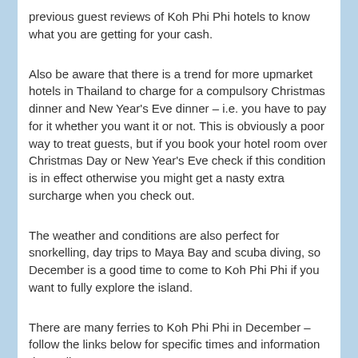previous guest reviews of Koh Phi Phi hotels to know what you are getting for your cash.
Also be aware that there is a trend for more upmarket hotels in Thailand to charge for a compulsory Christmas dinner and New Year's Eve dinner – i.e. you have to pay for it whether you want it or not. This is obviously a poor way to treat guests, but if you book your hotel room over Christmas Day or New Year's Eve check if this condition is in effect otherwise you might get a nasty extra surcharge when you check out.
The weather and conditions are also perfect for snorkelling, day trips to Maya Bay and scuba diving, so December is a good time to come to Koh Phi Phi if you want to fully explore the island.
There are many ferries to Koh Phi Phi in December – follow the links below for specific times and information depending